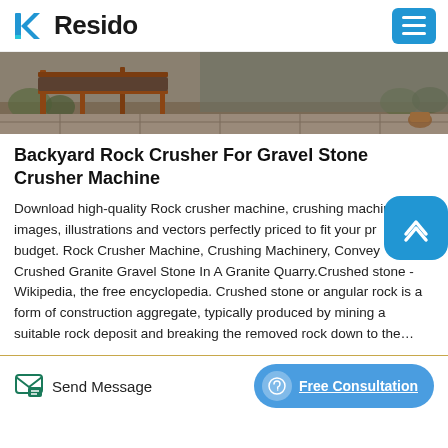Resido
[Figure (photo): Outdoor photo showing industrial machinery or rock crusher equipment, appearing to be a conveyor or metal frame structure outdoors against a wall with vegetation]
Backyard Rock Crusher For Gravel Stone Crusher Machine
Download high-quality Rock crusher machine, crushing machinery images, illustrations and vectors perfectly priced to fit your project budget. Rock Crusher Machine, Crushing Machinery, Conveying Crushed Granite Gravel Stone In A Granite Quarry.Crushed stone - Wikipedia, the free encyclopedia. Crushed stone or angular rock is a form of construction aggregate, typically produced by mining a suitable rock deposit and breaking the removed rock down to the…
Send Message  Free Consultation